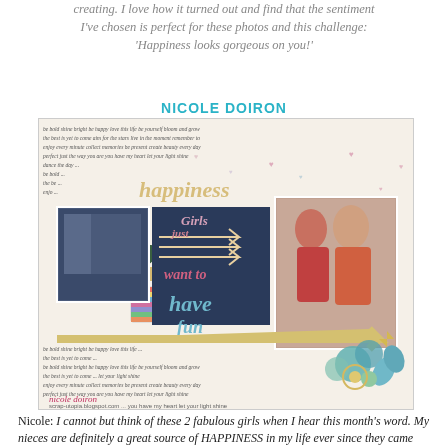creating. I love how it turned out and find that the sentiment I've chosen is perfect for these photos and this challenge: 'Happiness looks gorgeous on you!'
NICOLE DOIRON
[Figure (photo): A scrapbook layout page featuring two photos of two girls, decorative paper with handwritten text background, floral embellishments, arrows, and cursive title text reading 'Girls just want to have fun'. Signed 'nicole doiron' with URL scrap-utopia.blogspot.com]
Nicole: I cannot but think of these 2 fabulous girls when I hear this month's word. My nieces are definitely a great source of HAPPINESS in my life ever since they came into it 12 and 14